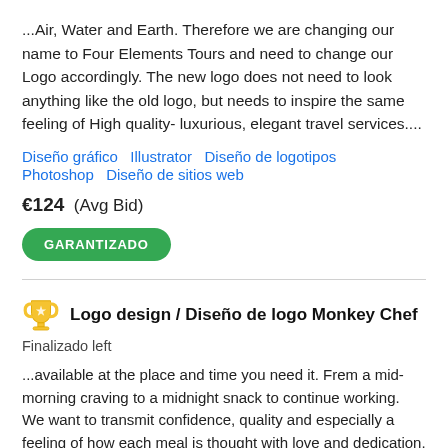...Air, Water and Earth. Therefore we are changing our name to Four Elements Tours and need to change our Logo accordingly. The new logo does not need to look anything like the old logo, but needs to inspire the same feeling of High quality- luxurious, elegant travel services....
Diseño gráfico   Illustrator   Diseño de logotipos   Photoshop   Diseño de sitios web
€124  (Avg Bid)
GARANTIZADO
Logo design / Diseño de logo Monkey Chef
Finalizado left
...available at the place and time you need it. Frem a mid-morning craving to a midnight snack to continue working. We want to transmit confidence, quality and especially a feeling of how each meal is thought with love and dedication. Icon: We want the character (monkey) to be i...